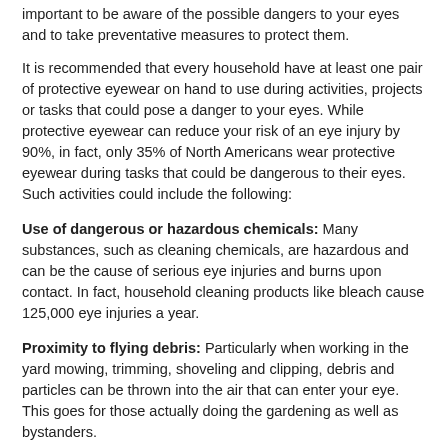important to be aware of the possible dangers to your eyes and to take preventative measures to protect them.
It is recommended that every household have at least one pair of protective eyewear on hand to use during activities, projects or tasks that could pose a danger to your eyes. While protective eyewear can reduce your risk of an eye injury by 90%, in fact, only 35% of North Americans wear protective eyewear during tasks that could be dangerous to their eyes. Such activities could include the following:
Use of dangerous or hazardous chemicals: Many substances, such as cleaning chemicals, are hazardous and can be the cause of serious eye injuries and burns upon contact. In fact, household cleaning products like bleach cause 125,000 eye injuries a year.
Proximity to flying debris: Particularly when working in the yard mowing, trimming, shoveling and clipping, debris and particles can be thrown into the air that can enter your eye. This goes for those actually doing the gardening as well as bystanders.
Using sharp tools: Whether you are dealing with shovels and